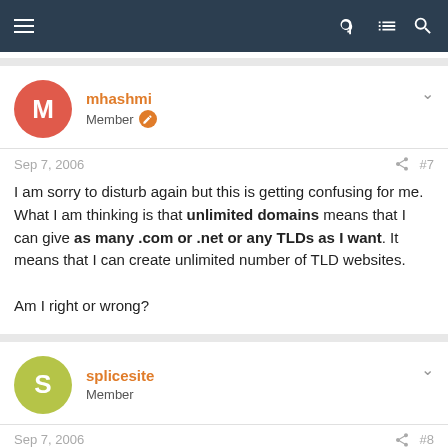Navigation bar with hamburger menu and icons
mhashmi
Member
Sep 7, 2006  #7
I am sorry to disturb again but this is getting confusing for me. What I am thinking is that unlimited domains means that I can give as many .com or .net or any TLDs as I want. It means that I can create unlimited number of TLD websites.

Am I right or wrong?
splicesite
Member
Sep 7, 2006  #8